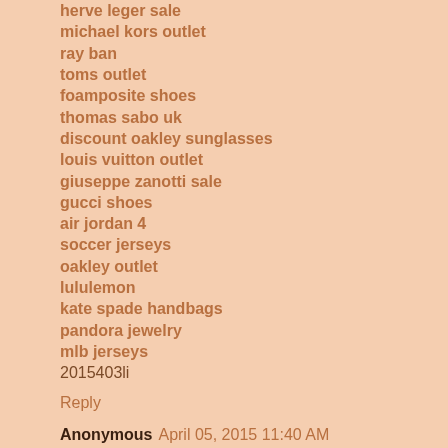herve leger sale
michael kors outlet
ray ban
toms outlet
foamposite shoes
thomas sabo uk
discount oakley sunglasses
louis vuitton outlet
giuseppe zanotti sale
gucci shoes
air jordan 4
soccer jerseys
oakley outlet
lululemon
kate spade handbags
pandora jewelry
mlb jerseys
2015403li
Reply
Anonymous April 05, 2015 11:40 AM